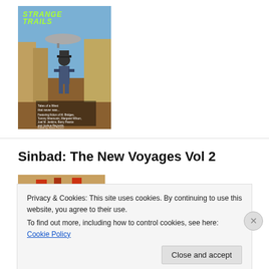[Figure (photo): Book cover of 'Strange Trails' showing a cowboy figure with guns in a western street, a zeppelin in the sky, with green stylized title text. Subtitle: Tales of a West that never was. Edited by James Pearce.]
Sinbad: The New Voyages Vol 2
[Figure (photo): Partial book cover of Sinbad: The New Voyages Vol 2, showing a desert/pyramid scene with red and dark elements.]
Privacy & Cookies: This site uses cookies. By continuing to use this website, you agree to their use.
To find out more, including how to control cookies, see here: Cookie Policy
Close and accept